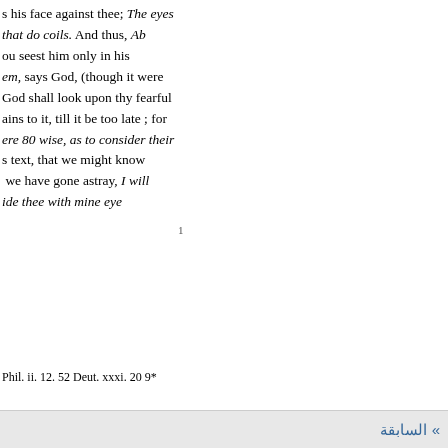s his face against thee; The eyes that do coils. And thus, Ab ou seest him only in his em, says God, (though it were God shall look upon thy fearful ains to it, till it be too late ; for ere 80 wise, as to consider their s text, that we might know  we have gone astray, I will ide thee with mine eye
Phil. ii. 12. 52 Deut. xxxi. 20 9*
» السابقة